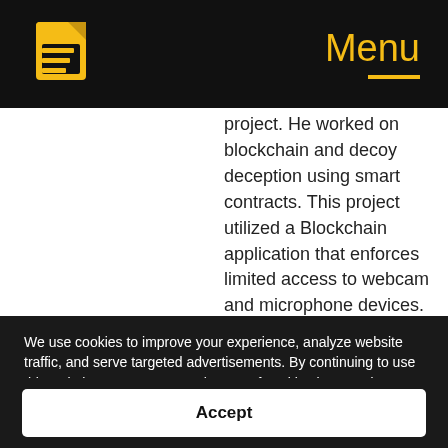Menu
project. He worked on blockchain and decoy deception using smart contracts. This project utilized a Blockchain application that enforces limited access to webcam and microphone devices. We utilize Blockchain's Smart Contract to form a contract between the user's computer and another party connected via a
We use cookies to improve your experience, analyze website traffic, and serve targeted advertisements. By continuing to use this website, you consent to the use of cookies in accordance with our cookie policy. Learn more
Accept